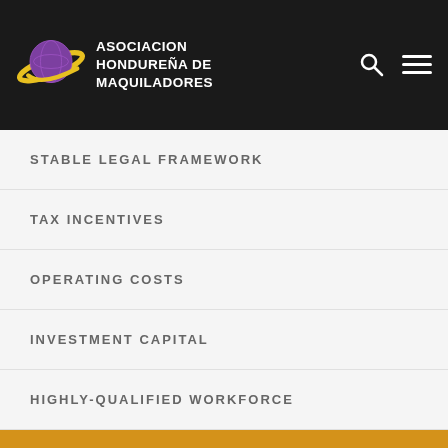[Figure (logo): Asociacion Hondureña de Maquiladores logo with planet/globe graphic and organization name in white text on black navigation bar]
STABLE LEGAL FRAMEWORK
TAX INCENTIVES
OPERATING COSTS
INVESTMENT CAPITAL
HIGHLY-QUALIFIED WORKFORCE
TOURISM